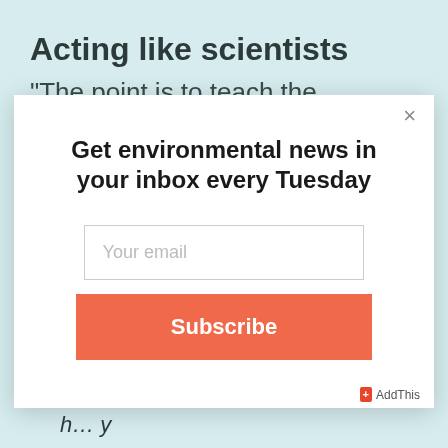Acting like scientists
“The point is to teach the students
[Figure (screenshot): Email newsletter subscription modal popup with title 'Get environmental news in your inbox every Tuesday', an email input field, and an orange Subscribe button. A close (X) button is in the top right corner.]
h… y